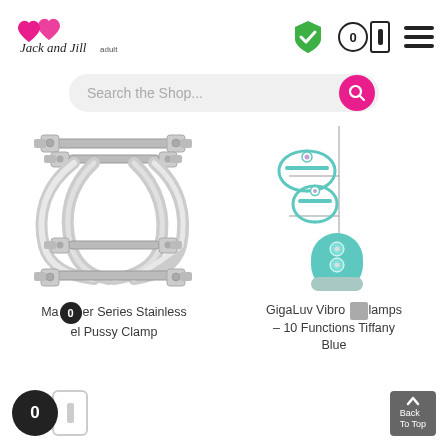[Figure (logo): Jack and Jill Adult shop logo with two pink hearts]
[Figure (infographic): Navigation icons: green shield checkmark, cart with 0 count, hamburger menu]
[Figure (screenshot): Search bar with placeholder text 'Search the Shop...' and pink search button]
[Figure (photo): Master Series Stainless Steel Pussy Clamp product image - chrome metal clamp device]
[Figure (photo): GigaLuv Vibro Clamps - 10 Functions Tiffany Blue product image - teal/mint colored clamps with remote]
Master Series Stainless Steel Pussy Clamp
GigaLuv Vibro Clamps – 10 Functions Tiffany Blue